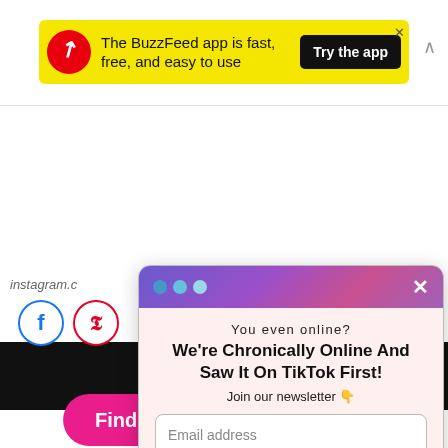[Figure (screenshot): BuzzFeed app advertisement banner in yellow background with red circular logo, text 'The BuzzFeed app is fast, free, and easy to use', and a black 'Try the app' button]
[Figure (screenshot): Pink rounded button reading 'Find more in the app!' with an X close icon]
instagram.c
[Figure (screenshot): Newsletter signup modal popup with gradient purple/pink header, dots and X close button, text 'You even online? We're Chronically Online And Saw It On TikTok First! Join our newsletter', email input field, 'Sign Me Up!' button, and 'No Thanks' link]